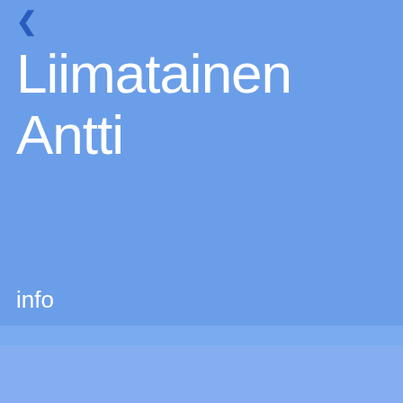Liimatainen Antti
info
[Figure (photo): Portrait photo of Antti Liimatainen, a man in a white shirt, photographed against a blue-grey background]